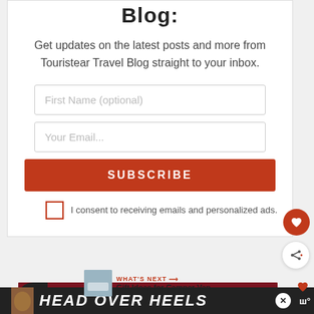Blog:
Get updates on the latest posts and more from Touristear Travel Blog straight to your inbox.
First Name (optional)
Your Email...
SUBSCRIBE
I consent to receiving emails and personalized ads.
[Figure (infographic): What's Next callout with thumbnail image and text 'Gift Ideas for Camper Van ...']
[Figure (infographic): Change a Life banner ad in dark red with dog image]
[Figure (infographic): Head Over Heels advertisement banner in dark background]